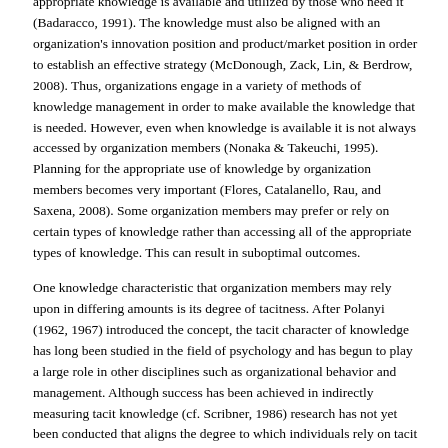appropriate knowledge is available and utilized by those who need it (Badaracco, 1991). The knowledge must also be aligned with an organization's innovation position and product/market position in order to establish an effective strategy (McDonough, Zack, Lin, & Berdrow, 2008). Thus, organizations engage in a variety of methods of knowledge management in order to make available the knowledge that is needed. However, even when knowledge is available it is not always accessed by organization members (Nonaka & Takeuchi, 1995). Planning for the appropriate use of knowledge by organization members becomes very important (Flores, Catalanello, Rau, and Saxena, 2008). Some organization members may prefer or rely on certain types of knowledge rather than accessing all of the appropriate types of knowledge. This can result in suboptimal outcomes.
One knowledge characteristic that organization members may rely upon in differing amounts is its degree of tacitness. After Polanyi (1962, 1967) introduced the concept, the tacit character of knowledge has long been studied in the field of psychology and has begun to play a large role in other disciplines such as organizational behavior and management. Although success has been achieved in indirectly measuring tacit knowledge (cf. Scribner, 1986) research has not yet been conducted that aligns the degree to which individuals rely on tacit knowledge with tasks that are completed using varying degrees of tacit knowledge.
Increasing our understanding of what types of knowledge that organization members are most likely to utilize can help organizations improve their knowledge management practices. Primary reliance on either explicit or tacit knowledge, especially under varying degrees of complexity, can affect